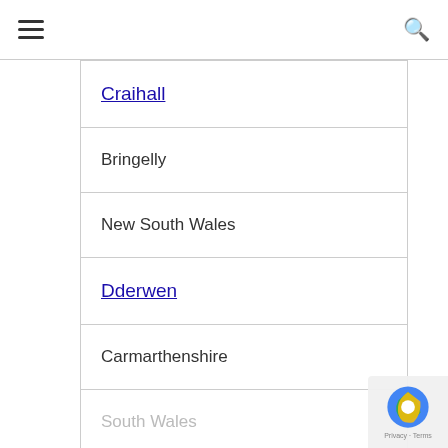≡  🔍
Craihall
Bringelly
New South Wales
Dderwen
Carmarthenshire
South Wales